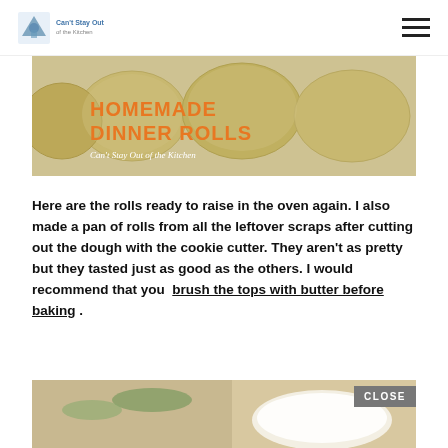Can't Stay Out of the Kitchen
[Figure (photo): Banner image showing homemade dinner rolls on a baking sheet with orange text 'HOMEMADE DINNER ROLLS' and subtitle 'Can't Stay Out of the Kitchen']
Here are the rolls ready to raise in the oven again. I also made a pan of rolls from all the leftover scraps after cutting out the dough with the cookie cutter. They aren't as pretty but they tasted just as good as the others. I would recommend that you brush the tops with butter before baking .
[Figure (photo): Photo of food preparation with a CLOSE button overlay in the top right corner]